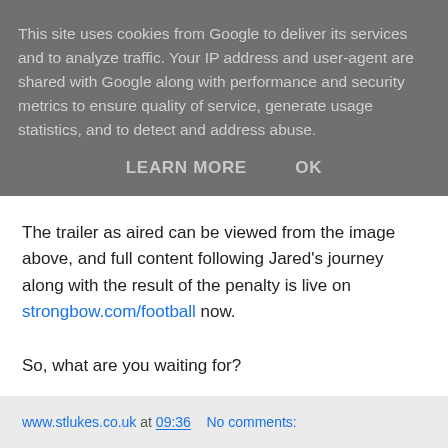This site uses cookies from Google to deliver its services and to analyze traffic. Your IP address and user-agent are shared with Google along with performance and security metrics to ensure quality of service, generate usage statistics, and to detect and address abuse.
LEARN MORE    OK
The trailer as aired can be viewed from the image above, and full content following Jared's journey along with the result of the penalty is live on strongbow.com/football now.
So, what are you waiting for?
www.stlukes.co.uk at 09:36    No comments: